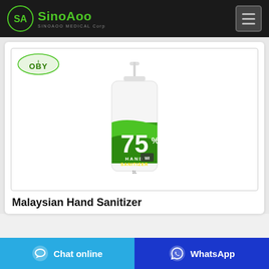SinoAoo SINOAOO MEDICAL Corp
[Figure (photo): Product photo of iOBY brand 75% Hand Sanitizer in a white pump bottle with green label, 1L size]
Malaysian Hand Sanitizer
Chat online | WhatsApp